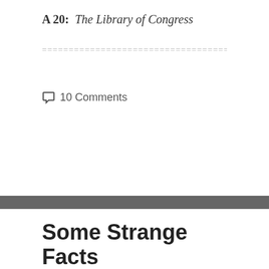A 20:  The Library of Congress
================================================================
💬 10 Comments
Some Strange Facts
February 13, 2013   Factoids, Humour,
Uncategorized, Unusual,   data, Allice, amusing, bold